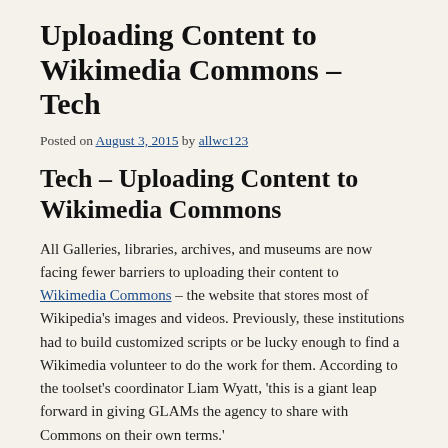Uploading Content to Wikimedia Commons – Tech
Posted on August 3, 2015 by allwc123
Tech – Uploading Content to Wikimedia Commons
All Galleries, libraries, archives, and museums are now facing fewer barriers to uploading their content to Wikimedia Commons – the website that stores most of Wikipedia's images and videos. Previously, these institutions had to build customized scripts or be lucky enough to find a Wikimedia volunteer to do the work for them. According to the toolset's coordinator Liam Wyatt, 'this is a giant leap forward in giving GLAMs the agency to share with Commons on their own terms.'